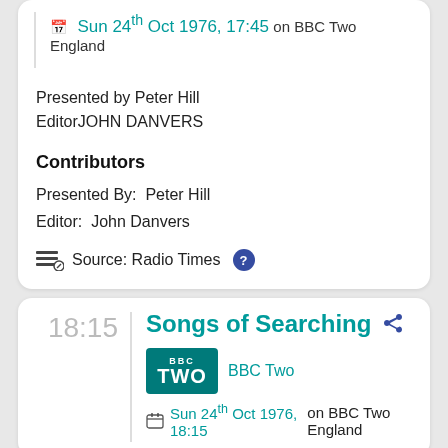Sun 24th Oct 1976, 17:45 on BBC Two England
Presented by Peter Hill
EditorJOHN DANVERS
Contributors
Presented By:  Peter Hill
Editor:  John Danvers
Source: Radio Times
18:15
Songs of Searching
BBC Two
Sun 24th Oct 1976, 18:15 on BBC Two England